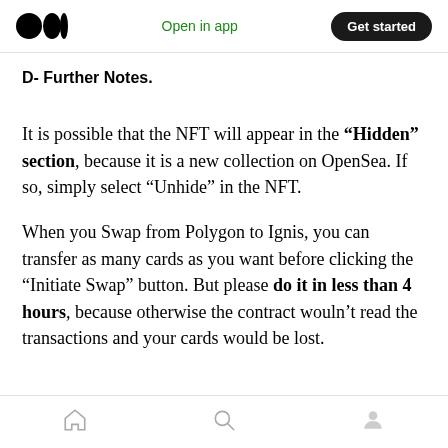Medium logo | Open in app | Get started
D- Further Notes.
It is possible that the NFT will appear in the “Hidden” section, because it is a new collection on OpenSea. If so, simply select “Unhide” in the NFT.
When you Swap from Polygon to Ignis, you can transfer as many cards as you want before clicking the “Initiate Swap” button. But please do it in less than 4 hours, because otherwise the contract wouln’t read the transactions and your cards would be lost.
Home | Search | Profile